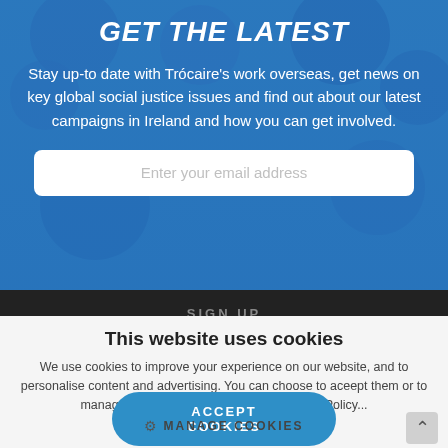GET THE LATEST
Stay up-to date with Trócaire's work overseas, get news on key global social justice issues and find out about our latest campaigns in Ireland and how you can get involved.
Enter your email address
SIGN UP
This website uses cookies
We use cookies to improve your experience on our website, and to personalise content and advertising. You can choose to aceept them or to manage them individually. Read our Cookie Policy...
ACCEPT COOKIES
MANAGE COOKIES